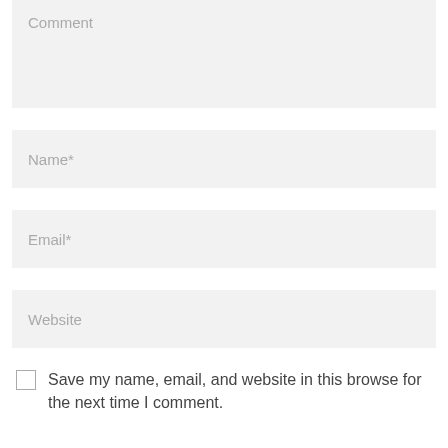Comment
Name*
Email*
Website
Save my name, email, and website in this browse for the next time I comment.